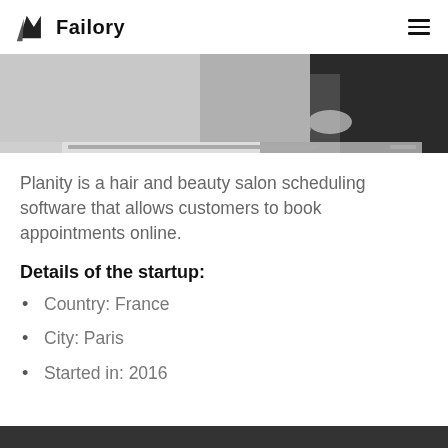Failory
[Figure (photo): Black and white photo of two people in black attire, cropped at mid-section, used as a hero banner image for Planity hair and beauty salon software.]
Planity is a hair and beauty salon scheduling software that allows customers to book appointments online.
Details of the startup:
Country: France
City: Paris
Started in: 2016